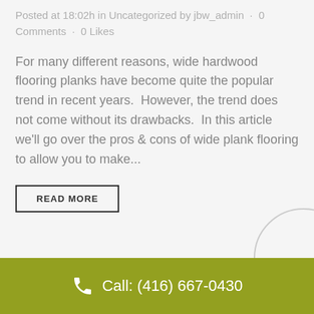Posted at 18:02h in Uncategorized by jbw_admin · 0 Comments · 0 Likes
For many different reasons, wide hardwood flooring planks have become quite the popular trend in recent years.  However, the trend does not come without its drawbacks.  In this article we'll go over the pros & cons of wide plank flooring to allow you to make...
READ MORE
Call: (416) 667-0430